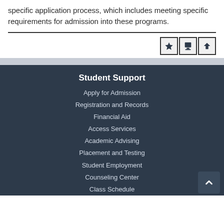specific application process, which includes meeting specific requirements for admission into these programs.
Student Support
Apply for Admission
Registration and Records
Financial Aid
Access Services
Academic Advising
Placement and Testing
Student Employment
Counseling Center
Class Schedule